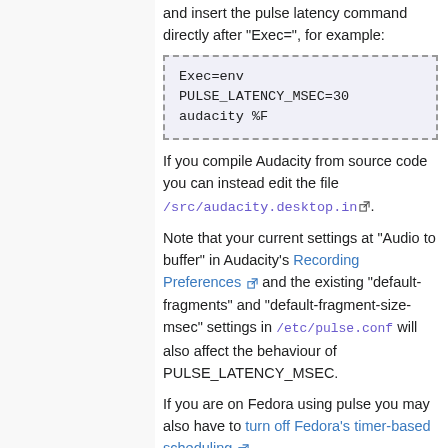and insert the pulse latency command directly after "Exec=", for example:
Exec=env PULSE_LATENCY_MSEC=30 audacity %F
If you compile Audacity from source code you can instead edit the file /src/audacity.desktop.in.
Note that your current settings at "Audio to buffer" in Audacity's Recording Preferences and the existing "default-fragments" and "default-fragment-size-msec" settings in /etc/pulse.conf will also affect the behaviour of PULSE_LATENCY_MSEC.
If you are on Fedora using pulse you may also have to turn off Fedora's timer-based scheduling.
Alternatively choose the (hw: 0, <some number>) playback and recording devices (assuming you are using a motherboard device). This will access the hardware directly, bypassing the pulse layer.